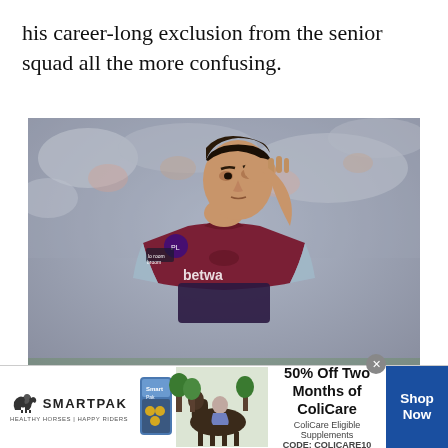his career-long exclusion from the senior squad all the more confusing.
[Figure (photo): A football player wearing a claret and blue West Ham United jersey with 'betway' sponsor and Umbro logo, raising his hand to his face. The background shows a blurred stadium crowd.]
[Figure (other): SmartPak advertisement banner: logo with horse icon and text 'SMARTPAK HEALTHY HORSES | HAPPY RIDERS', product images including supplement container and horse with rider, offer text '50% Off Two Months of ColiCare, ColiCare Eligible Supplements, CODE: COLICARE10', and blue 'Shop Now' button.]